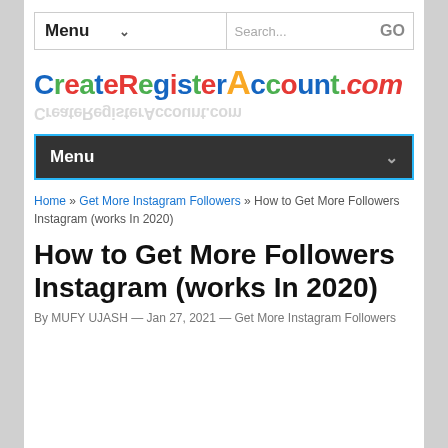Menu | Search... GO
[Figure (logo): CreateRegisterAccount.com logo with colorful letters and a mirror reflection below]
Menu
Home » Get More Instagram Followers » How to Get More Followers Instagram (works In 2020)
How to Get More Followers Instagram (works In 2020)
By MUFY UJASH — Jan 27, 2021 — Get More Instagram Followers